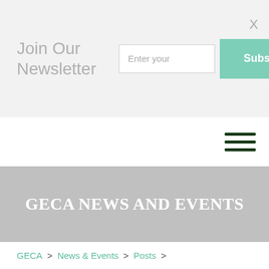Join Our Newsletter
Enter your
Subscribe
X
[Figure (other): Hamburger menu icon with three horizontal dark green lines]
GECA NEWS AND EVENTS
GECA > News & Events > Posts >